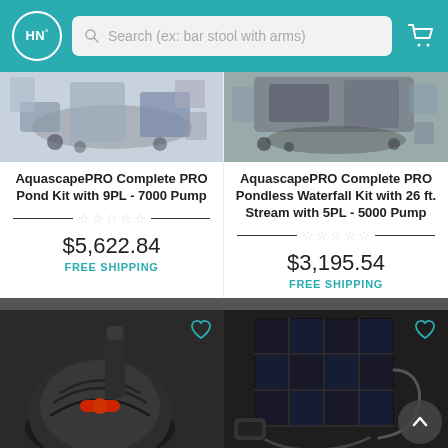HN° | Search (ex: bar stool with arms)
[Figure (photo): Product photo: AquascapePRO Complete PRO Pond Kit with 9PL - 7000 Pump accessories laid out]
AquascapePRO Complete PRO Pond Kit with 9PL - 7000 Pump
$5,622.84
FREE SHIPPING
[Figure (photo): Product photo: AquascapePRO Complete PRO Pondless Waterfall Kit with 26 ft. Stream accessories laid out]
AquascapePRO Complete PRO Pondless Waterfall Kit with 26 ft. Stream with 5PL - 5000 Pump
$3,195.54
FREE SHIPPING
[Figure (photo): Product photo: Black electric pond pump with red accent and nozzle attachment]
[Figure (photo): Product photo: Solar panel kit with pump and accessories]